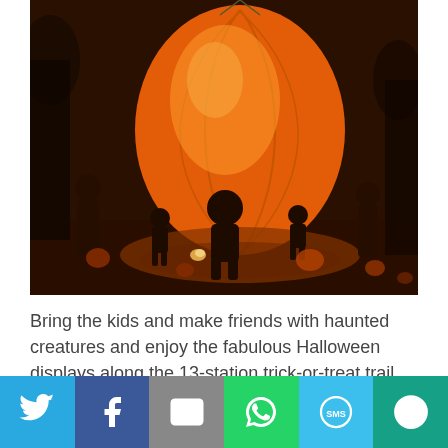[Figure (photo): Night-time Halloween event photo showing a large illuminated orange pumpkin balloon/lantern with silhouettes of people and children around it, scattered real pumpkins on the ground, and warm orange glow lighting the dark scene.]
Bring the kids and make friends with haunted creatures and enjoy the fabulous Halloween displays along the 13-station trick-or-treat trail. Don’t forget to stop by the Haunted Reptile House and visit the
[Figure (infographic): Social media share bar at the bottom with six colored buttons: Twitter (light blue), Facebook (dark blue), Email (gray), WhatsApp (green), SMS (blue), and More (teal/dark green).]